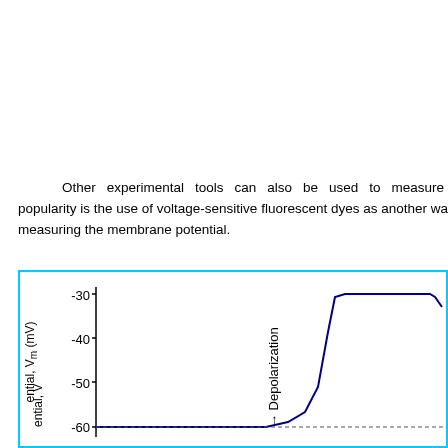Other experimental tools can also be used to measure membrane potential. Growing in popularity is the use of voltage-sensitive fluorescent dyes as another way of measuring the membrane potential.
[Figure (continuous-plot): A graph showing membrane potential (Vm in mV) on the y-axis with values from -60 to -30. The x-axis is unlabeled (time). An arrow labeled 'Depolarization' points upward in the middle of the plot. A blue curve shows a depolarization event: the signal starts flat near -60 mV, then rises steeply to near -30 mV and plateaus, then begins to fall at the right edge. The plot has a cyan border.]